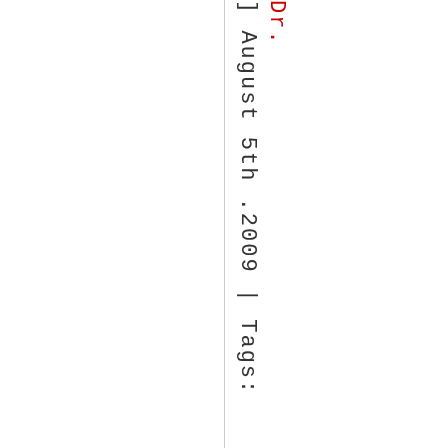] August 5th .2009 | Tags: Dr.